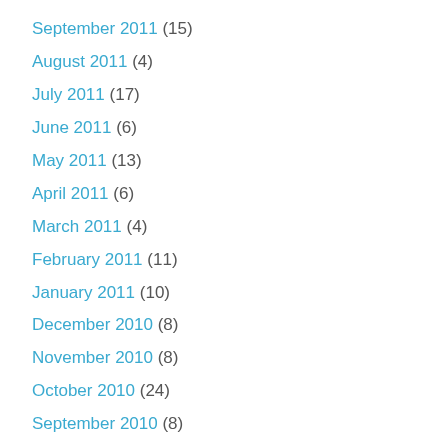September 2011 (15)
August 2011 (4)
July 2011 (17)
June 2011 (6)
May 2011 (13)
April 2011 (6)
March 2011 (4)
February 2011 (11)
January 2011 (10)
December 2010 (8)
November 2010 (8)
October 2010 (24)
September 2010 (8)
August 2010 (8)